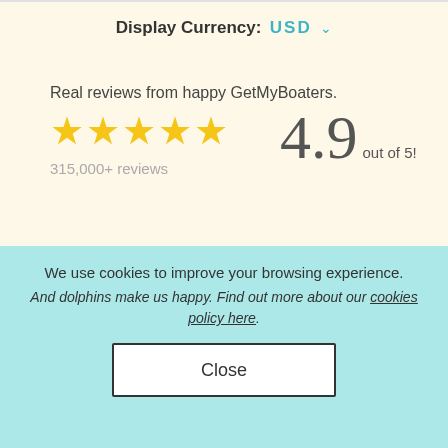Display Currency: USD ∨
Real reviews from happy GetMyBoaters.
[Figure (other): Five yellow star rating icons]
4.9 out of 5!
315,000+ reviews
[Figure (illustration): Blue avatar icon of a person]
24 / 7 live support.
We use cookies to improve your browsing experience.
And dolphins make us happy. Find out more about our cookies policy here.
Close